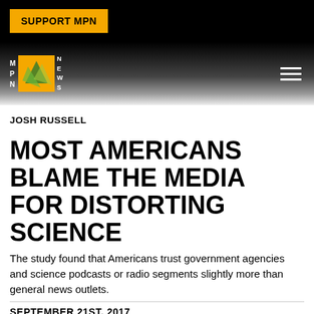SUPPORT MPN
[Figure (logo): MPN News logo with orange square and leaf icon]
JOSH RUSSELL
MOST AMERICANS BLAME THE MEDIA FOR DISTORTING SCIENCE
The study found that Americans trust government agencies and science podcasts or radio segments slightly more than general news outlets.
SEPTEMBER 21ST, 2017